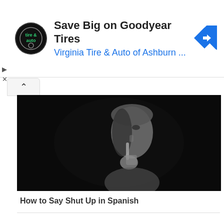[Figure (screenshot): Advertisement banner for Virginia Tire & Auto of Ashburn featuring Goodyear Tires offer, with circular logo on left and blue navigation arrow icon on right]
[Figure (photo): Black and white photo of a man holding his index finger to his lips in a 'shush' gesture against a dark background]
How to Say Shut Up in Spanish
Comments
No Comments: